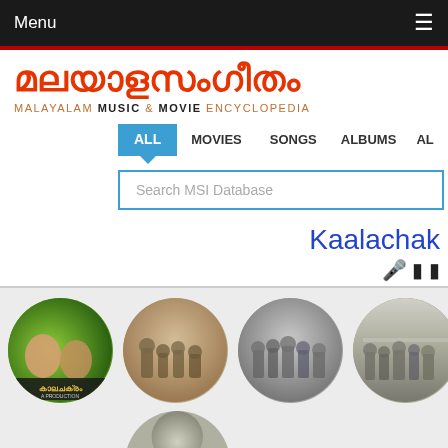Menu  ≡
മലയാളസംഗീതം — MALAYALAM MUSIC & MOVIE ENCYCLOPEDIA
ALL  MOVIES  SONGS  ALBUMS  AL...
Search MSI Database
Kaalachak
[Figure (photo): Four circular thumbnail photos showing old black-and-white and color images of movie cast/crew, with the first being a green movie poster for 'Kaalachakram']
[Figure (photo): Partial bottom circular thumbnail photo]